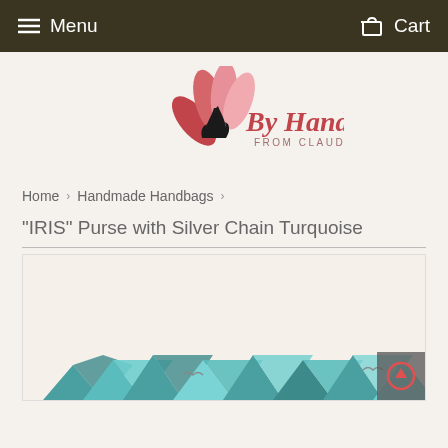Menu   Cart
[Figure (logo): By Hands From Claudia logo with pink flower/hand design and cursive text]
Home > Handmade Handbags >
"IRIS" Purse with Silver Chain Turquoise
[Figure (photo): Product photo of IRIS Purse with Silver Chain in Turquoise color, partially visible at bottom of page]